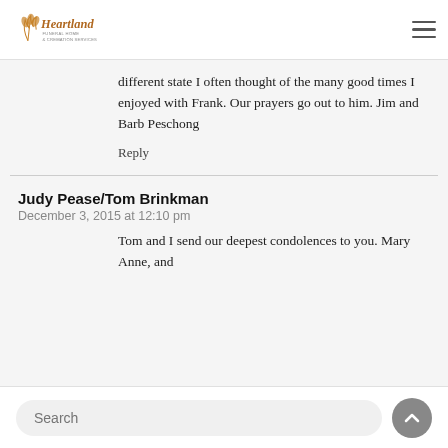Heartland Funeral Home & Cremation Services
different state I often thought of the many good times I enjoyed with Frank. Our prayers go out to him. Jim and Barb Peschong
Reply
Judy Pease/Tom Brinkman
December 3, 2015 at 12:10 pm
Tom and I send our deepest condolences to you. Mary Anne, and